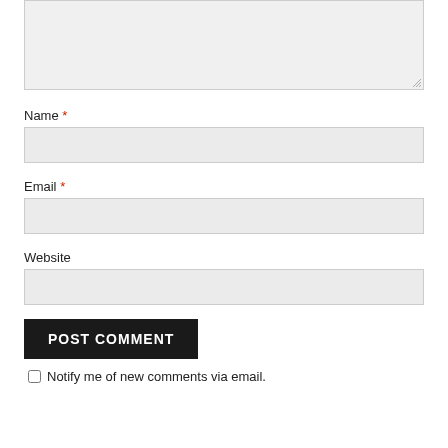[Figure (screenshot): A partially visible textarea input box with a resize handle at the bottom right, with a light gray background.]
Name *
[Figure (screenshot): A Name text input field with light gray background.]
Email *
[Figure (screenshot): An Email text input field with light gray background.]
Website
[Figure (screenshot): A Website text input field with light gray background.]
POST COMMENT
Notify me of new comments via email.